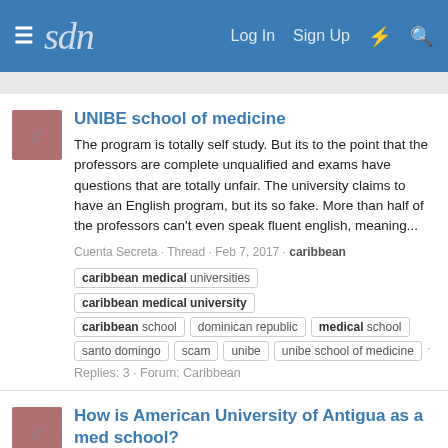sdn | Log In  Sign Up
UNIBE school of medicine
The program is totally self study. But its to the point that the professors are complete unqualified and exams have questions that are totally unfair. The university claims to have an English program, but its so fake. More than half of the professors can't even speak fluent english, meaning...
Cuenta Secreta · Thread · Feb 7, 2017 · caribbean | caribbean medical universities | caribbean medical university | caribbean school | dominican republic | medical school | santo domingo | scam | unibe | unibe school of medicine · Replies: 3 · Forum: Caribbean
How is American University of Antigua as a med school?
Im looking to transfer from my terrible university once i take the Step one. Has anyone ever done it before? How is AUA as a university? How are the rotations in the states?
Cuenta Secreta · Thread · Feb 7, 2017 ·